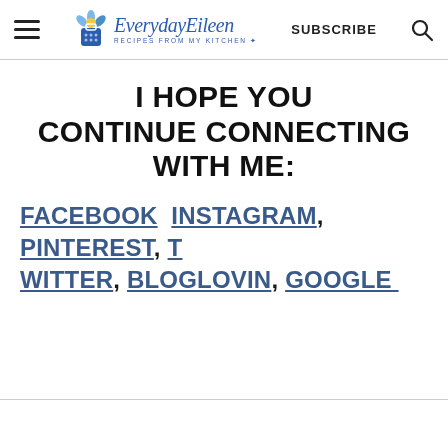EverydayEileen — RECIPES FROM MY KITCHEN | SUBSCRIBE | [search]
I HOPE YOU CONTINUE CONNECTING WITH ME:
FACEBOOK  INSTAGRAM, PINTEREST, TWITTER, BLOGLOVIN, GOOGLE